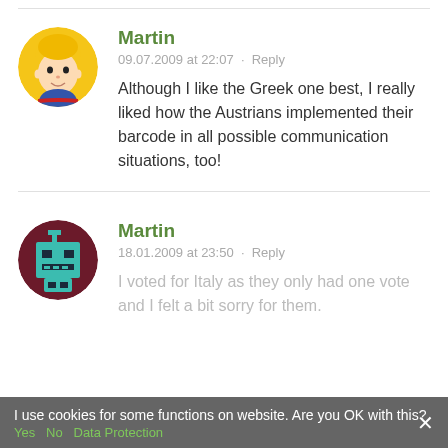Martin
09.07.2009 at 22:07 · Reply
Although I like the Greek one best, I really liked how the Austrians implemented their barcode in all possible communication situations, too!
Martin
18.01.2009 at 23:50 · Reply
I voted for Italy as they only had one vote and I felt a bit sorry for them.
I use cookies for some functions on website. Are you OK with this?
Yes  No  Data Protection